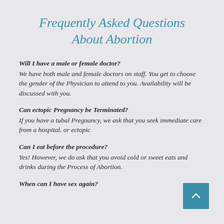Frequently Asked Questions About Abortion
Will I have a male or female doctor?
We have both male and female doctors on staff. You get to choose the gender of the Physician to attend to you. Availability will be discussed with you.
Can ectopic Pregnancy be Terminated?
If you have a tubal Pregnancy, we ask that you seek immediate care from a hospital. or ectopic
Can I eat before the procedure?
Yes! However, we do ask that you avoid cold or sweet eats and drinks during the Process of Abortion.
When can I have sex again?